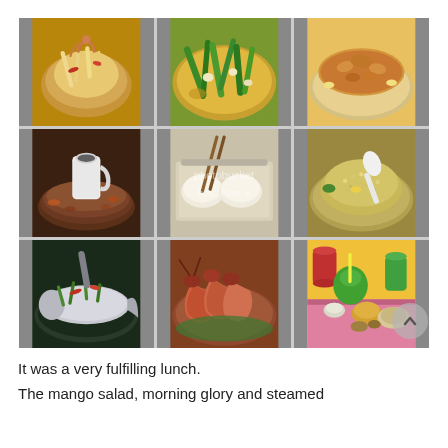[Figure (photo): 3x3 grid of food photos showing Thai dishes: mango salad, morning glory stir fry, fried fish/egg dish, seafood hot pot with ceramic jug, dim sum/steamed buns with chopsticks (watermarked photobucket), fried rice with spoon, whole steamed fish, grilled prawns/shrimp, table spread with coconut drinks and dishes]
It was a very fulfilling lunch.
The mango salad, morning glory and steamed